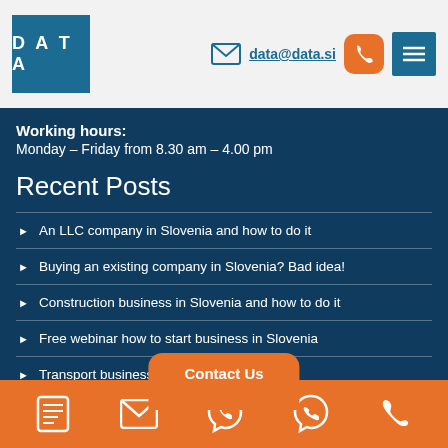DATA | data@data.si
Working hours:
Monday – Friday from 8.30 am – 4.00 pm
Recent Posts
An LLC company in Slovenia and how to do it
Buying an existing company in Slovenia? Bad idea!
Construction business in Slovenia and how to do it
Free webinar how to start business in Slovenia
Transport business in Sl…
Contact Us